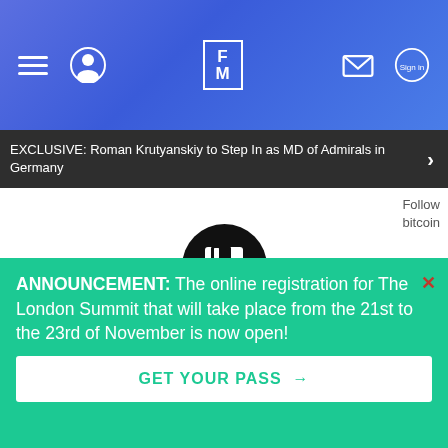FM Finance Magnates navigation bar with hamburger menu, avatar icon, FM logo, email icon, sign in button
EXCLUSIVE: Roman Krutyanskiy to Step In as MD of Admirals in Germany
Follow bitcoin
[Figure (illustration): Black circular save/floppy-disk icon with label 'Save' below it]
ADVERTISEMENT
ANNOUNCEMENT: The online registration for The London Summit that will take place from the 21st to the 23rd of November is now open!
GET YOUR PASS →